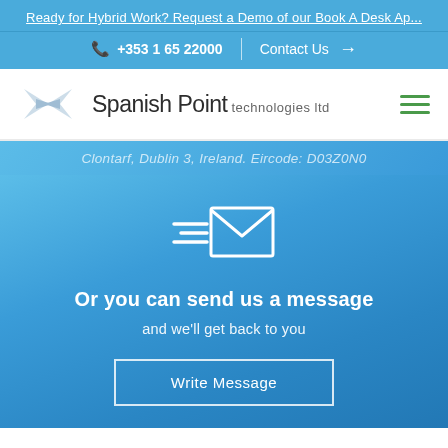Ready for Hybrid Work? Request a Demo of our Book A Desk Ap...
+353 1 65 22000  |  Contact Us →
[Figure (logo): Spanish Point technologies ltd logo with stylized arrow/bowtie graphic]
Clontarf, Dublin 3, Ireland. Eircode: D03Z0N0
[Figure (illustration): White envelope with speed lines icon indicating sending a message]
Or you can send us a message
and we'll get back to you
Write Message